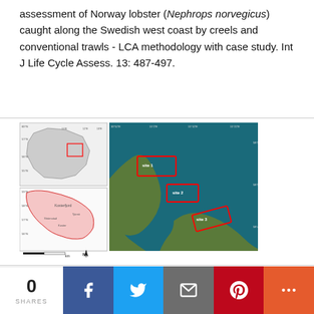assessment of Norway lobster (Nephrops norvegicus) caught along the Swedish west coast by creels and conventional trawls - LCA methodology with case study. Int J Life Cycle Assess. 13: 487-497.
[Figure (map): Map showing the study area with two inset maps of Sweden/coastal region on the left and a satellite/aerial image of the coastal area with red rectangles indicating study zones on the right.]
pdf   html
0 SHARES
social share buttons: Facebook, Twitter, Email, Pinterest, More